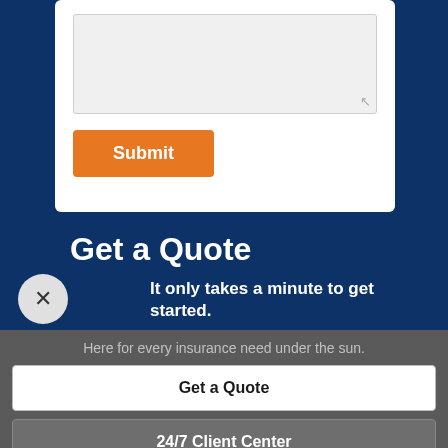[Figure (screenshot): Partial form card on dark blue background with a textarea input and orange Submit button]
Get a Quote
It only takes a minute to get started.
Here for every insurance need under the sun.
Get a Quote
24/7 Client Center